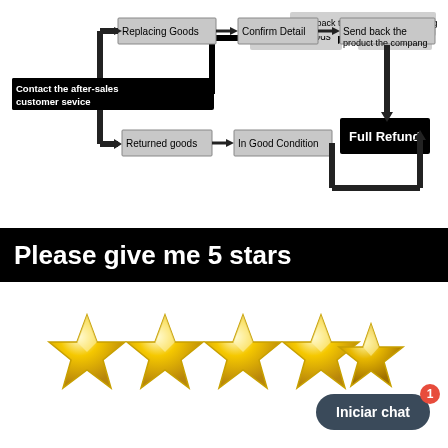[Figure (flowchart): Flowchart showing two paths from 'Contact the after-sales customer service': upper path goes to 'Replacing Goods' -> 'Confirm Detail' -> 'Send back the product the compang' -> down to 'Full Refund'; lower path goes to 'Returned goods' -> 'In Good Condition' -> up to 'Full Refund'.]
Please give me 5 stars
[Figure (illustration): Five golden 3D stars in a row representing a 5-star rating]
Iniciar chat